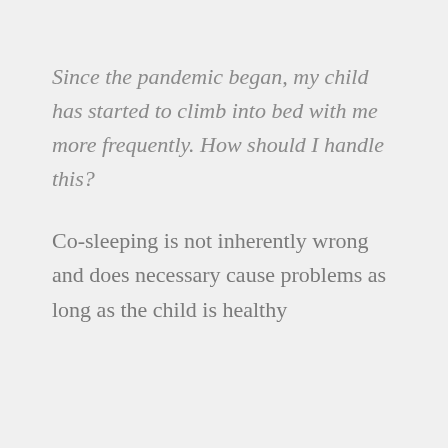Since the pandemic began, my child has started to climb into bed with me more frequently. How should I handle this?
Co-sleeping is not inherently wrong and does necessary cause problems as long as the child is healthy